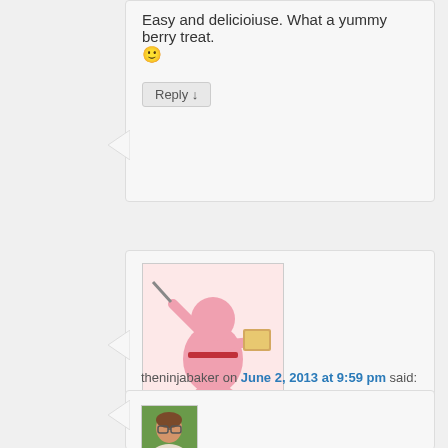Easy and delicioiuse. What a yummy berry treat. 🙂
Reply ↓
[Figure (photo): Avatar of theninjabaker: pink ninja cartoon character holding a sword and a pizza]
theninjabaker on June 2, 2013 at 9:59 pm said:
Great idea, Kathya! Perfect too after a summer outing with the kids =)
Reply ↓
[Figure (photo): Avatar photo of a young woman with glasses and brown hair, smiling outdoors]